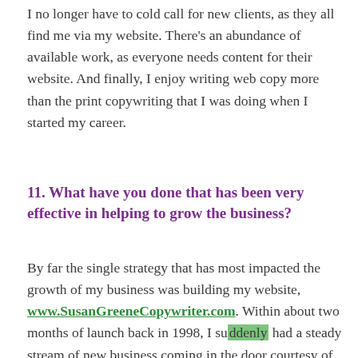I no longer have to cold call for new clients, as they all find me via my website. There's an abundance of available work, as everyone needs content for their website. And finally, I enjoy writing web copy more than the print copywriting that I was doing when I started my career.
11. What have you done that has been very effective in helping to grow the business?
By far the single strategy that has most impacted the growth of my business was building my website, www.SusanGreeneCopywriter.com. Within about two months of launch back in 1998, I suddenly had a steady stream of new business coming in the door courtesy of the traffic delivered by the search